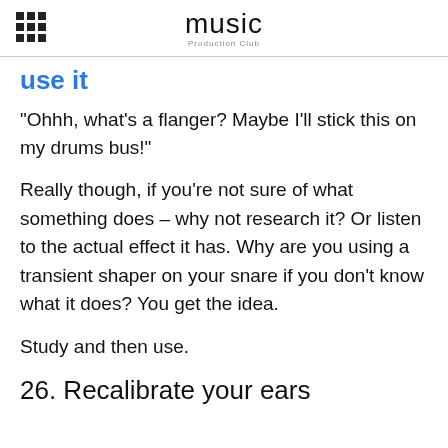music Production Club
use it
“Ohhh, what’s a flanger? Maybe I’ll stick this on my drums bus!”
Really though, if you’re not sure of what something does – why not research it? Or listen to the actual effect it has. Why are you using a transient shaper on your snare if you don’t know what it does? You get the idea.
Study and then use.
26. Recalibrate your ears